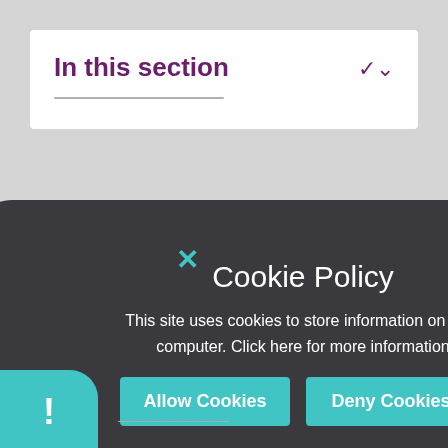In this section
my special
es first.
[Figure (screenshot): Cookie policy modal overlay on a gray webpage background. Dark rounded rectangle modal contains a teal X close button, 'Cookie Policy' heading, descriptive text, and two teal buttons labeled 'Allow Cookies' and 'Deny Cookies'. A teal rounded info bubble with an exclamation mark appears at the bottom left.]